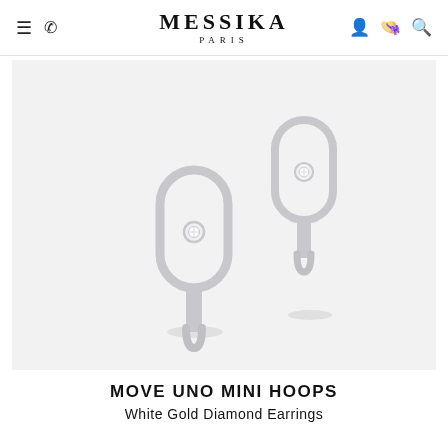MESSIKA PARIS
[Figure (photo): Two white gold hoop earrings with diamond Move Uno design on light grey background]
MOVE UNO MINI HOOPS
White Gold Diamond Earrings